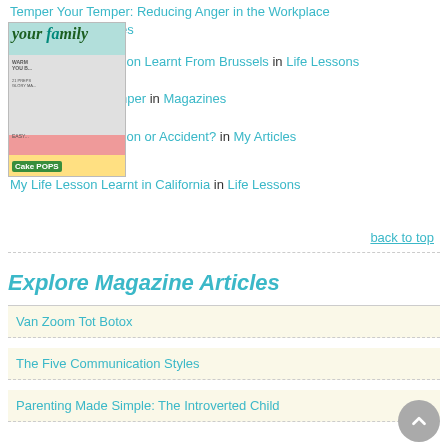[Figure (photo): Magazine cover thumbnail of 'your family' magazine showing a woman on the cover with text 'WARM YOU B...', '21 PREPS GLORY MA...', 'EASY...', 'Cake POPS']
Temper Your Temper: Reducing Anger in the Workplace
...es
...son Learnt From Brussels in Life Lessons
...nper in Magazines
...tion or Accident? in My Articles
My Life Lesson Learnt in California in Life Lessons
back to top
Explore Magazine Articles
Van Zoom Tot Botox
The Five Communication Styles
Parenting Made Simple: The Introverted Child